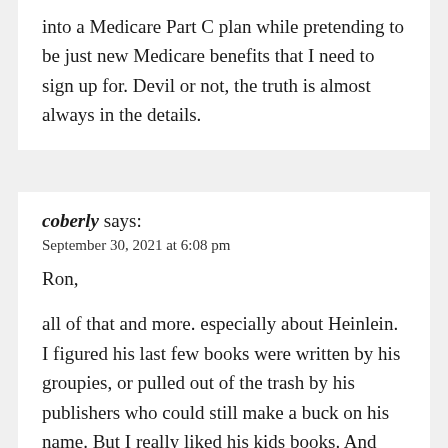into a Medicare Part C plan while pretending to be just new Medicare benefits that I need to sign up for.  Devil or not, the truth is almost always in the details.
coberly says:
September 30, 2021 at 6:08 pm

Ron,

all of that and more.  especially about Heinlein.  I figured his last few books were written by his groupies, or pulled out of the trash by his publishers who could still make a buck on his name.  But I really liked his kids books.  And was a little taken